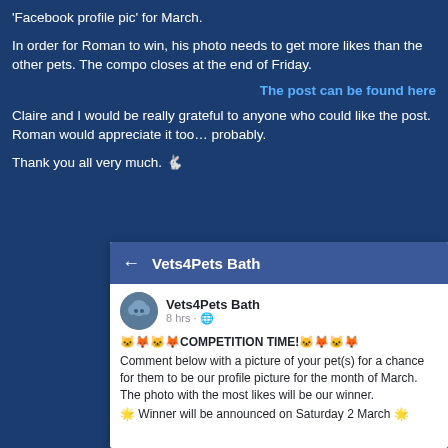'Facebook profile pic' for March.
In order for Roman to win, his photo needs to get more likes than the other pets. The compo closes at the end of Friday.
The post can be found here
Claire and I would be really grateful to anyone who could like the post. Roman would appreciate it too… probably.
Thank you all very much. 🐇
[Figure (screenshot): Facebook post screenshot from Vets4Pets Bath page showing a competition post asking people to comment with pet photos for a chance to be the profile picture for March. Competition emojis and text visible.]